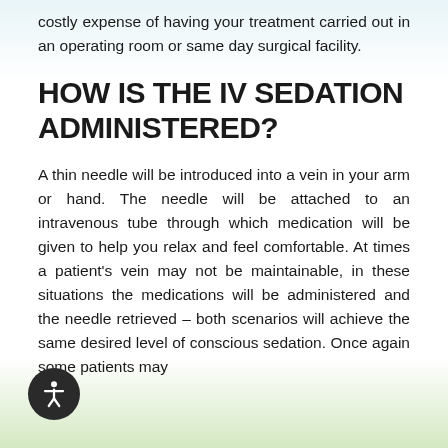costly expense of having your treatment carried out in an operating room or same day surgical facility.
HOW IS THE IV SEDATION ADMINISTERED?
A thin needle will be introduced into a vein in your arm or hand. The needle will be attached to an intravenous tube through which medication will be given to help you relax and feel comfortable. At times a patient's vein may not be maintainable, in these situations the medications will be administered and the needle retrieved – both scenarios will achieve the same desired level of conscious sedation. Once again some patients may